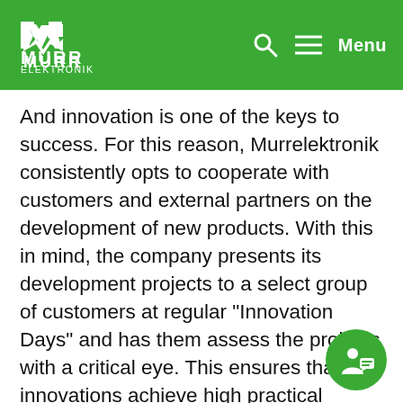Murr Elektronik — Menu
And innovation is one of the keys to success. For this reason, Murrelektronik consistently opts to cooperate with customers and external partners on the development of new products. With this in mind, the company presents its development projects to a select group of customers at regular "Innovation Days" and has them assess the projects with a critical eye. This ensures that the innovations achieve high practical relevance and are suitable for deployment in a wide variety of industries.
A perfect example of the success of this approach is the smart Mico Pro power